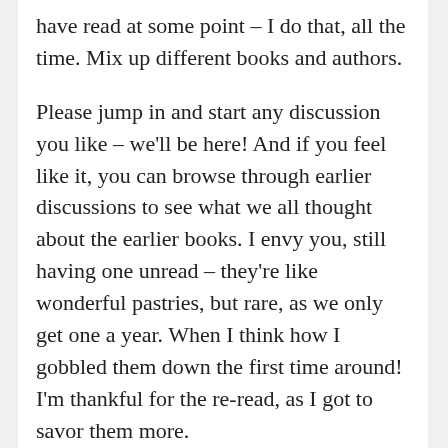have read at some point – I do that, all the time. Mix up different books and authors.
Please jump in and start any discussion you like – we'll be here! And if you feel like it, you can browse through earlier discussions to see what we all thought about the earlier books. I envy you, still having one unread – they're like wonderful pastries, but rare, as we only get one a year. When I think how I gobbled them down the first time around! I'm thankful for the re-read, as I got to savor them more.
Speaking of pastries, have people been following along with The Night is a Strawberry blog? I love it – there's always an imaginative recipe meant to evoke one of the items in a book but also a thoughtful book discussion. The last one, with brownie tartlets, was inspired! If you